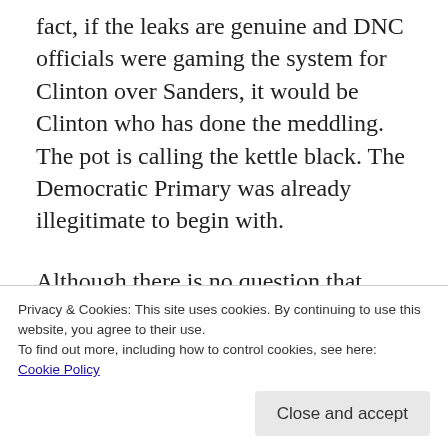fact, if the leaks are genuine and DNC officials were gaming the system for Clinton over Sanders, it would be Clinton who has done the meddling. The pot is calling the kettle black. The Democratic Primary was already illegitimate to begin with.
Although there is no question that Russia likes Trump and vice-versa, the likelihood of Putin, a former KGB officer and FSB director (that's intelligence and counterintelligence) moving
Privacy & Cookies: This site uses cookies. By continuing to use this website, you agree to their use.
To find out more, including how to control cookies, see here:
Cookie Policy
wasting them on a candidate who may not